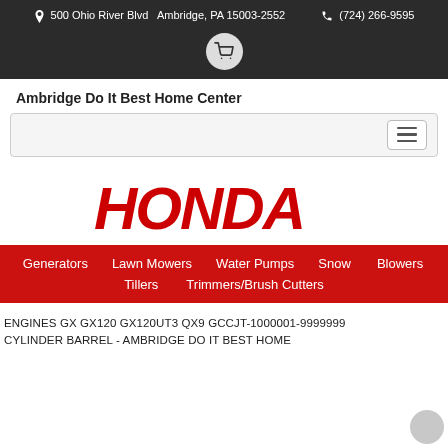📍 500 Ohio River Blvd   Ambridge, PA 15003-2552     📞 (724) 266-9595
Ambridge Do It Best Home Center
[Figure (logo): HONDA logo in large bold red italic text]
Generators
Lawn Mowers
Water Pumps
Snow Blowers
Tillers
Trimmers/Brush Cutters
ENGINES GX GX120 GX120UT3 QX9 GCCJT-1000001-9999999 CYLINDER BARREL - AMBRIDGE DO IT BEST HOME